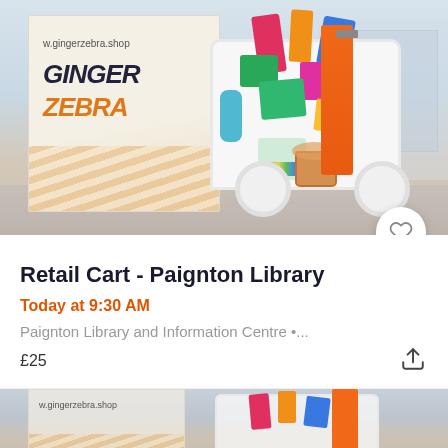[Figure (photo): Photo of a Ginger Zebra branded retail cart display inside Paignton Library, showing colorful merchandise on a white wheeled cart with a banner in the background]
Retail Cart - Paignton Library
Today at 9:30 AM
Paignton Library and Information Centre •...
£25
[Figure (photo): Partial photo of the same Ginger Zebra retail cart setup, bottom of page, partially cropped]